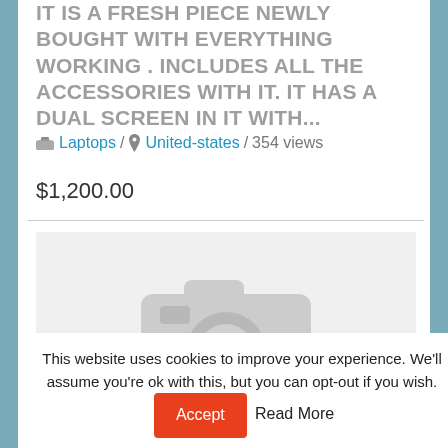IT IS A FRESH PIECE NEWLY BOUGHT WITH EVERYTHING WORKING . INCLUDES ALL THE ACCESSORIES WITH IT. IT HAS A DUAL SCREEN IN IT WITH...
Laptops / United-states / 354 views
$1,200.00
[Figure (photo): No image placeholder: grey camera icon on light grey background]
This website uses cookies to improve your experience. We'll assume you're ok with this, but you can opt-out if you wish. Accept Read More